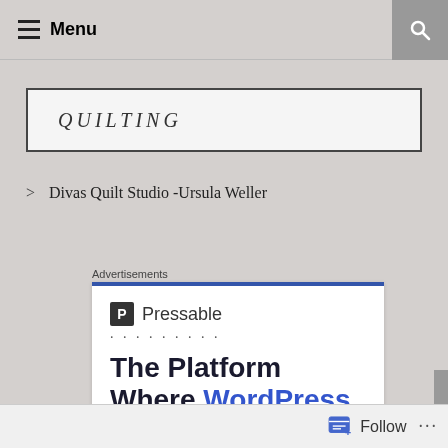Menu
QUILTING
Divas Quilt Studio -Ursula Weller
Advertisements
[Figure (screenshot): Advertisement for Pressable hosting showing logo, dots, and headline 'The Platform Where WordPress']
Follow ...